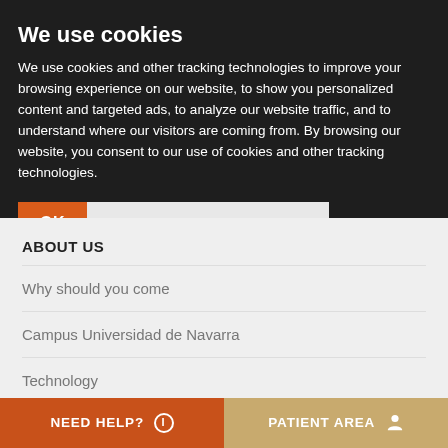We use cookies
We use cookies and other tracking technologies to improve your browsing experience on our website, to show you personalized content and targeted ads, to analyze our website traffic, and to understand where our visitors are coming from. By browsing our website, you consent to our use of cookies and other tracking technologies.
ABOUT US
Why should you come
Campus Universidad de Navarra
Technology
Awards and accreditations
Corporate Social Responsibility
NEED HELP?  |  PATIENT AREA